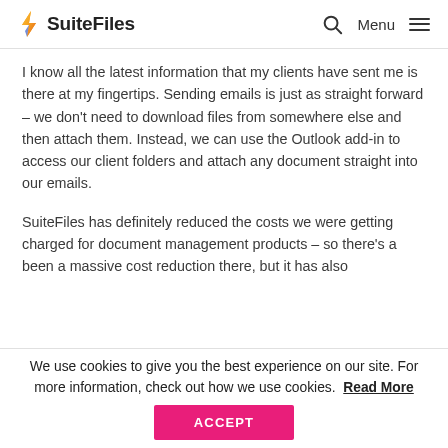SuiteFiles | Menu
I know all the latest information that my clients have sent me is there at my fingertips. Sending emails is just as straight forward – we don't need to download files from somewhere else and then attach them. Instead, we can use the Outlook add-in to access our client folders and attach any document straight into our emails.
SuiteFiles has definitely reduced the costs we were getting charged for document management products – so there's a been a massive cost reduction there, but it has also
We use cookies to give you the best experience on our site. For more information, check out how we use cookies. Read More ACCEPT